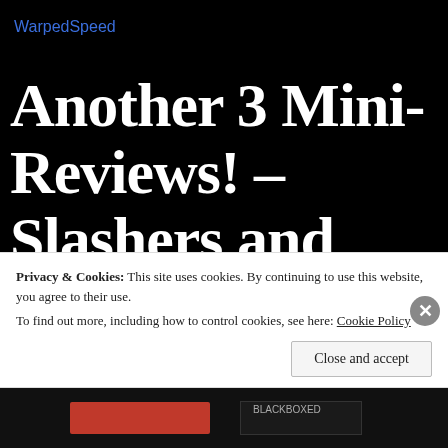WarpedSpeed
Another 3 Mini-Reviews! – Slashers and Incest and Werewolves!
October 19, 2015 | 4 Comments
Privacy & Cookies: This site uses cookies. By continuing to use this website, you agree to their use. To find out more, including how to control cookies, see here: Cookie Policy
Close and accept